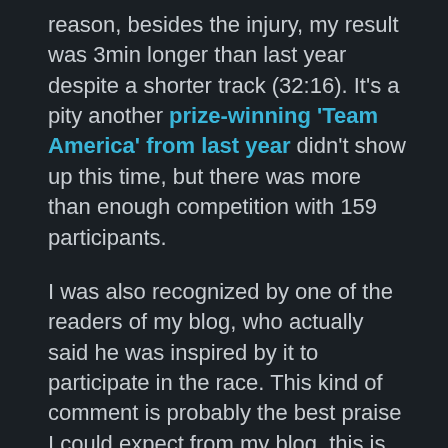reason, besides the injury, my result was 3min longer than last year despite a shorter track (32:16). It's a pity another prize-winning 'Team America' from last year didn't show up this time, but there was more than enough competition with 159 participants.
I was also recognized by one of the readers of my blog, who actually said he was inspired by it to participate in the race. This kind of comment is probably the best praise I could expect from my blog, this is what keeps me motivated to run it!
After the award ceremony, we ate lunch and I was glad to find out that the restaurant at Sunny Rest has improved tremendously and offers now a diverse menu of pretty good quality. Then we rested from the race in the pool and hot tub… but not for too long, as we also wanted to play volleyball. We had a few fun matches but needed even more rest afterwards, so we mostly hung